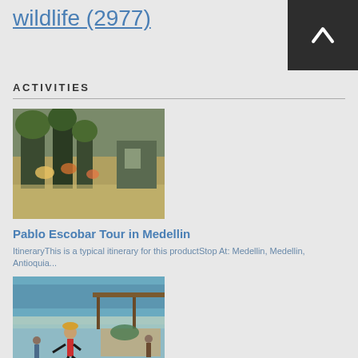wildlife (2977)
ACTIVITIES
[Figure (photo): Outdoor garden or courtyard with colorful flowers and trees]
Pablo Escobar Tour in Medellin
ItineraryThis is a typical itinerary for this productStop At: Medellin, Medellin, Antioquia...
[Figure (photo): Person in red shirt and cowboy hat dancing with someone near an outdoor seating area]
Mud Volcano and Indigena's Town(Galerazamba)